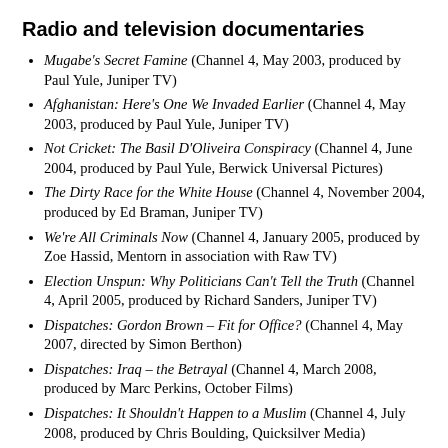Radio and television documentaries
Mugabe's Secret Famine (Channel 4, May 2003, produced by Paul Yule, Juniper TV)
Afghanistan: Here's One We Invaded Earlier (Channel 4, May 2003, produced by Paul Yule, Juniper TV)
Not Cricket: The Basil D'Oliveira Conspiracy (Channel 4, June 2004, produced by Paul Yule, Berwick Universal Pictures)
The Dirty Race for the White House (Channel 4, November 2004, produced by Ed Braman, Juniper TV)
We're All Criminals Now (Channel 4, January 2005, produced by Zoe Hassid, Mentorn in association with Raw TV)
Election Unspun: Why Politicians Can't Tell the Truth (Channel 4, April 2005, produced by Richard Sanders, Juniper TV)
Dispatches: Gordon Brown – Fit for Office? (Channel 4, May 2007, directed by Simon Berthon)
Dispatches: Iraq – the Betrayal (Channel 4, March 2008, produced by Marc Perkins, October Films)
Dispatches: It Shouldn't Happen to a Muslim (Channel 4, July 2008, produced by Chris Boulding, Quicksilver Media)
Dispatches: Iraq – the Legacy (Channel 4, December 2008,